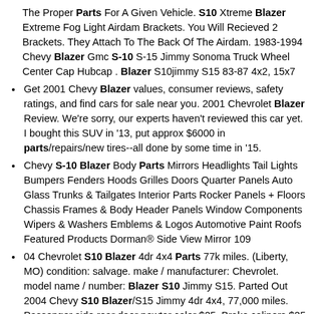The Proper Parts For A Given Vehicle. S10 Xtreme Blazer Extreme Fog Light Airdam Brackets. You Will Recieved 2 Brackets. They Attach To The Back Of The Airdam. 1983-1994 Chevy Blazer Gmc S-10 S-15 Jimmy Sonoma Truck Wheel Center Cap Hubcap . Blazer S10jimmy S15 83-87 4x2, 15x7
Get 2001 Chevy Blazer values, consumer reviews, safety ratings, and find cars for sale near you. 2001 Chevrolet Blazer Review. We're sorry, our experts haven't reviewed this car yet. I bought this SUV in '13, put approx $6000 in parts/repairs/new tires--all done by some time in '15.
Chevy S-10 Blazer Body Parts Mirrors Headlights Tail Lights Bumpers Fenders Hoods Grilles Doors Quarter Panels Auto Glass Trunks & Tailgates Interior Parts Rocker Panels + Floors Chassis Frames & Body Header Panels Window Components Wipers & Washers Emblems & Logos Automotive Paint Roofs Featured Products Dorman® Side View Mirror 109
04 Chevrolet S10 Blazer 4dr 4x4 Parts 77k miles. (Liberty, MO) condition: salvage. make / manufacturer: Chevrolet. model name / number: Blazer S10 Jimmy S15. Parted Out 2004 Chevy S10 Blazer/S15 Jimmy 4dr 4x4, 77,000 miles. Passenger side rear door pewter color $25. Brake calipers $25 pair. tire jack and blocks $25.